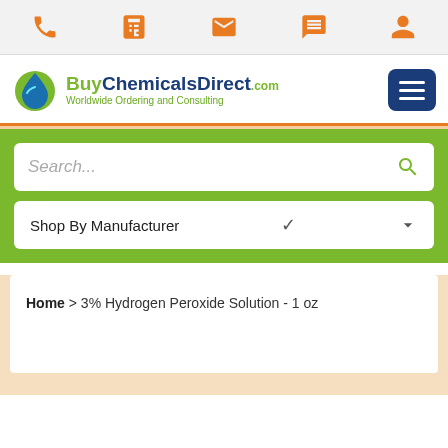BuyChemicalsDirect.com - Worldwide Ordering and Consulting
[Figure (screenshot): Website navigation bar with orange icons: phone, calculator, email, chat, user account]
[Figure (logo): BuyChemicalsDirect.com logo with green and dark blue text and water drop icon]
Search...
Shop By Manufacturer
Home > 3% Hydrogen Peroxide Solution - 1 oz